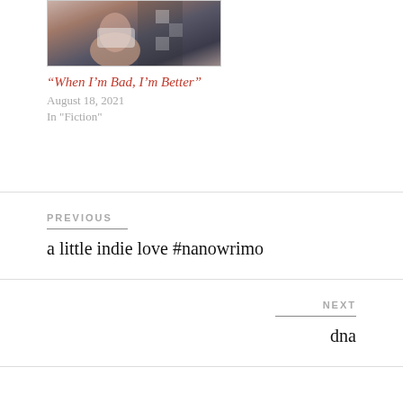[Figure (photo): Thumbnail photo showing a partial figure, appears to be a person near a motorcycle, cropped at top]
“When I’m Bad, I’m Better”
August 18, 2021
In "Fiction"
PREVIOUS
a little indie love #nanowrimo
NEXT
dna